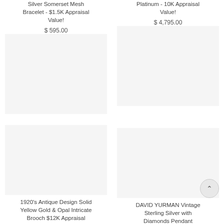Silver Somerset Mesh Bracelet - $1.5K Appraisal Value!
$ 595.00
Platinum - 10K Appraisal Value!
$ 4,795.00
1920's Antique Design Solid Yellow Gold & Opal Intricate Brooch $12K Appraisal Value w/CoA}
$ 2,995.00
DAVID YURMAN Vintage Sterling Silver with Diamonds Pendant Appraisal Value w/C…
$ 3,495.00